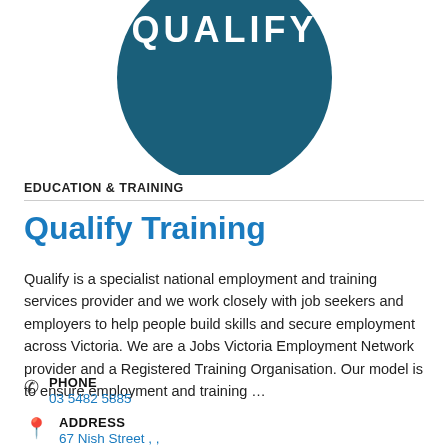[Figure (logo): Qualify logo — dark teal circle with white text 'QUALIFY' at the top]
EDUCATION & TRAINING
Qualify Training
Qualify is a specialist national employment and training services provider and we work closely with job seekers and employers to help people build skills and secure employment across Victoria. We are a Jobs Victoria Employment Network provider and a Registered Training Organisation. Our model is to ensure employment and training …
PHONE
03 5482 5885
ADDRESS
67 Nish Street , ,